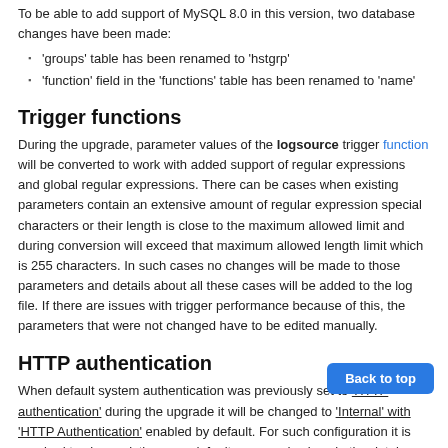To be able to add support of MySQL 8.0 in this version, two database changes have been made:
'groups' table has been renamed to 'hstgrp'
'function' field in the 'functions' table has been renamed to 'name'
Trigger functions
During the upgrade, parameter values of the logsource trigger function will be converted to work with added support of regular expressions and global regular expressions. There can be cases when existing parameters contain an extensive amount of regular expression special characters or their length is close to the maximum allowed limit and during conversion will exceed that maximum allowed length limit which is 255 characters. In such cases no changes will be made to those parameters and details about all these cases will be added to the log file. If there are issues with trigger performance because of this, the parameters that were not changed have to be edited manually.
HTTP authentication
When default system authentication was previously set to 'HTTP authentication' during the upgrade it will be changed to 'Internal' with 'HTTP Authentication' enabled by default. For such configuration it is required to clear existing user default password values in the database executing the following query: